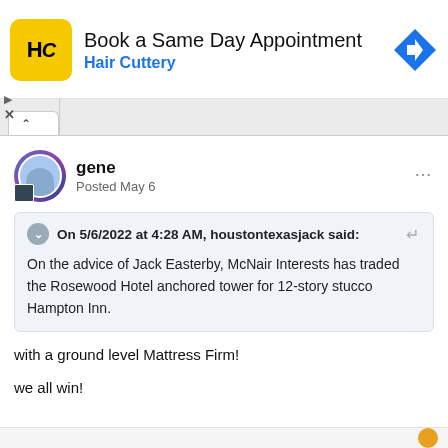[Figure (screenshot): Hair Cuttery advertisement banner with yellow HC logo, 'Book a Same Day Appointment' headline, 'Hair Cuttery' subtext in blue, and a blue diamond-shaped navigation arrow icon on the right.]
gene
Posted May 6
On 5/6/2022 at 4:28 AM, houstontexasjack said:
On the advice of Jack Easterby, McNair Interests has traded the Rosewood Hotel anchored tower for 12-story stucco Hampton Inn.
with a ground level Mattress Firm!
we all win!